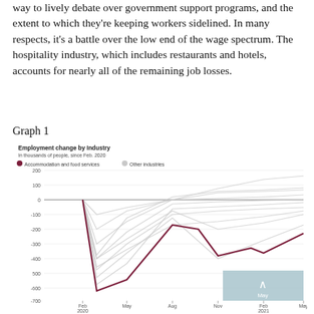way to lively debate over government support programs, and the extent to which they're keeping workers sidelined. In many respects, it's a battle over the low end of the wage spectrum. The hospitality industry, which includes restaurants and hotels, accounts for nearly all of the remaining job losses.
Graph 1
[Figure (line-chart): Line chart showing employment change by industry since Feb 2020 through May 2021. Accommodation and food services line drops sharply to about -620 in April 2020, recovers partially to about -170 in August 2020, dips again to about -380 in November 2020 and -330 in February 2021, then rises to about -230 by May 2021. Multiple grey lines for other industries mostly recover to near 0 or above by mid-2021, with one line reaching above +100.]